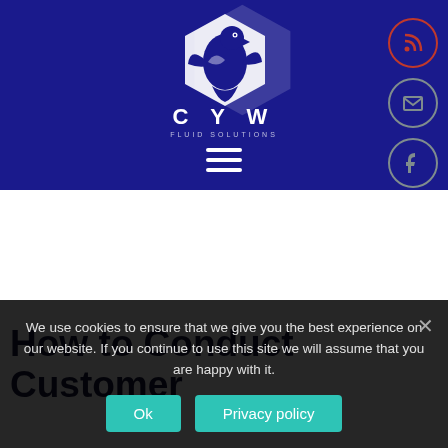[Figure (logo): CYW Fluid Solutions eagle logo on dark blue header background with hamburger menu icon]
[Figure (infographic): Five circular social media icons on right side: RSS (orange border), email (gray border), Facebook (gray border), Twitter (blue border), LinkedIn (blue border)]
How to Conduct Customer
We use cookies to ensure that we give you the best experience on our website. If you continue to use this site we will assume that you are happy with it.
Ok   Privacy policy